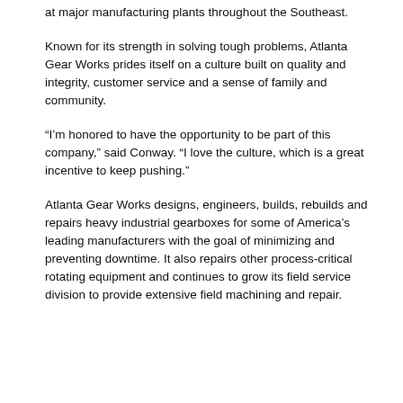at major manufacturing plants throughout the Southeast.
Known for its strength in solving tough problems, Atlanta Gear Works prides itself on a culture built on quality and integrity, customer service and a sense of family and community.
“I’m honored to have the opportunity to be part of this company,” said Conway. “I love the culture, which is a great incentive to keep pushing.”
Atlanta Gear Works designs, engineers, builds, rebuilds and repairs heavy industrial gearboxes for some of America’s leading manufacturers with the goal of minimizing and preventing downtime. It also repairs other process-critical rotating equipment and continues to grow its field service division to provide extensive field machining and repair.